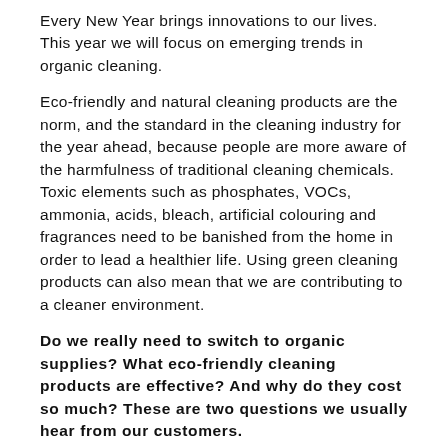Every New Year brings innovations to our lives. This year we will focus on emerging trends in organic cleaning.
Eco-friendly and natural cleaning products are the norm, and the standard in the cleaning industry for the year ahead, because people are more aware of the harmfulness of traditional cleaning chemicals. Toxic elements such as phosphates, VOCs, ammonia, acids, bleach, artificial colouring and fragrances need to be banished from the home in order to lead a healthier life. Using green cleaning products can also mean that we are contributing to a cleaner environment.
Do we really need to switch to organic supplies? What eco-friendly cleaning products are effective? And why do they cost so much? These are two questions we usually hear from our customers.